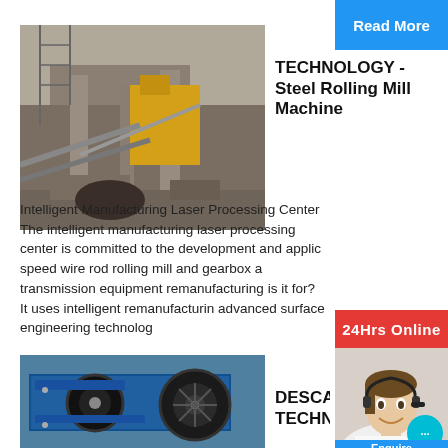Read More
[Figure (photo): Steel rolling mill / mining/crushing equipment at industrial site]
TECHNOLOGY - Steel Rolling Mill Machine
Intelligent Manufacturing Laser Processing Center The intelligent manufacturing laser processing center is committed to the development and application of high speed wire rod rolling mill and gearbox and transmission equipment remanufacturing. What is it for? It uses intelligent remanufacturing and advanced surface engineering technology
24Hrs Online
[Figure (photo): Customer service agent woman with headset smiling, with chat bubble overlay]
Need questions & suggestion?
Chat Now
Enquire
[Figure (photo): Blue industrial crushing machine with flywheel]
DESCALING TECHNOLOGY